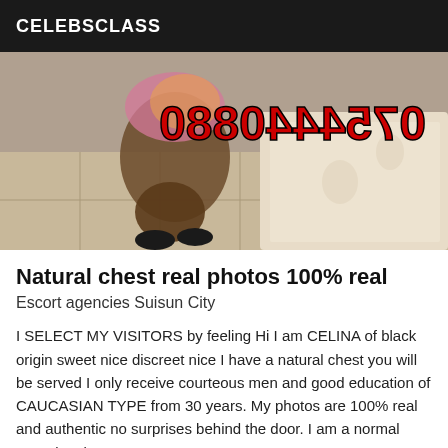CELEBSCLASS
[Figure (photo): Photo of a woman seated near a bed, with a red mirrored/flipped phone number overlay '0754440880' displayed prominently across the image.]
Natural chest real photos 100% real
Escort agencies Suisun City
I SELECT MY VISITORS by feeling Hi I am CELINA of black origin sweet nice discreet nice I have a natural chest you will be served I only receive courteous men and good education of CAUCASIAN TYPE from 30 years. My photos are 100% real and authentic no surprises behind the door. I am a normal occasional